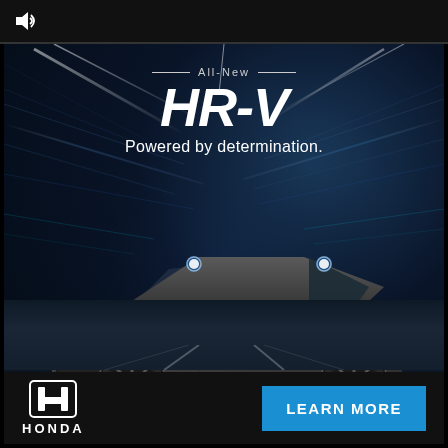[Figure (screenshot): Honda HR-V advertisement. Top black bar with audio/speaker icon. Main area shows Honda HR-V SUV driving at night on a road with motion-blur speed lines in the background. Text overlay reads 'All-New HR-V Powered by determination.' Bottom bar has Honda logo on left and blue 'LEARN MORE' button on right.]
All-New
HR-V
Powered by determination.
HONDA
LEARN MORE